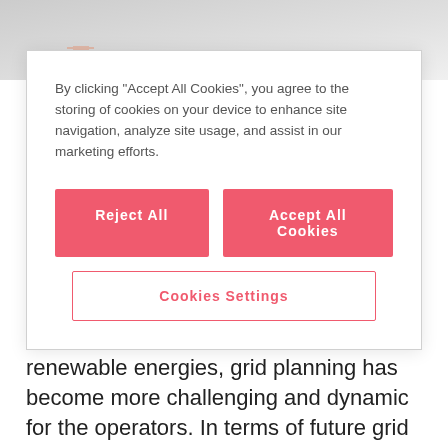[Figure (photo): Blurred/faded background photo of people in the upper portion of the page]
By clicking “Accept All Cookies”, you agree to the storing of cookies on your device to enhance site navigation, analyze site usage, and assist in our marketing efforts.
Reject All
Accept All Cookies
Cookies Settings
supply. With increasingly decentralised, irregular power generation from renewable energies, grid planning has become more challenging and dynamic for the operators. In terms of future grid development, our current analytic methods do not have the ability to qualitatively assess supply security so that investments can be planned in a timely